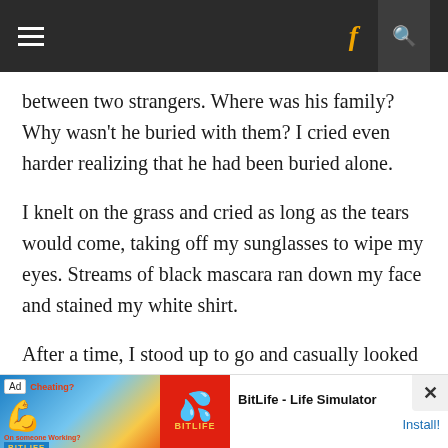Navigation bar with hamburger menu, Facebook icon, and search icon
between two strangers. Where was his family? Why wasn't he buried with them? I cried even harder realizing that he had been buried alone.
I knelt on the grass and cried as long as the tears would come, taking off my sunglasses to wipe my eyes. Streams of black mascara ran down my face and stained my white shirt.
After a time, I stood up to go and casually looked at the names on the surrounding
[Figure (screenshot): Advertisement banner for BitLife - Life Simulator app with Ad label, Cheating? text, muscle emoji graphic on blue/yellow background, red block with sperm logo, app name and Install button]